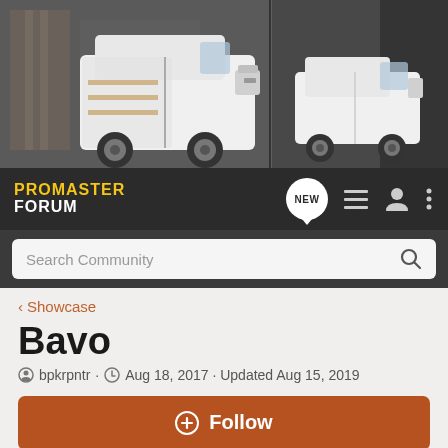[Figure (photo): Banner image showing two white RAM ProMaster vans in a warehouse/industrial setting. Left side shows a large ProMaster cargo van with open side door, right side shows a smaller ProMaster City van.]
[Figure (logo): ProMaster Forum logo - yellow PROMASTER text above white FORUM text on dark background]
NEW
Search Community
< Showcase
Bavo
bpkrpntr · Aug 18, 2017 · Updated Aug 15, 2019
+ Follow
General Information